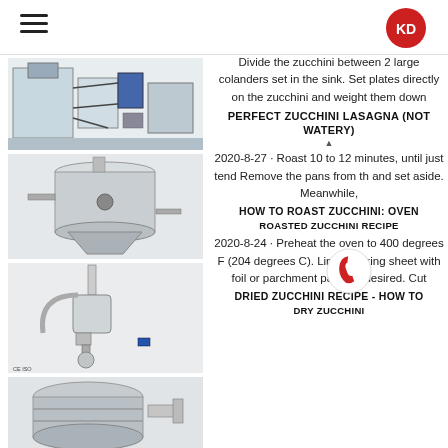KD logo and hamburger menu
[Figure (photo): Industrial laboratory equipment / spray dryer machine]
[Figure (photo): Large stainless steel industrial spray dryer tank]
[Figure (photo): Laboratory distillation or extraction apparatus with CE ISO mark]
[Figure (photo): Industrial mixing or grinding equipment, partial view]
Divide the zucchini between 2 large colanders set in the sink. Set plates directly on the zucchini and weight them down
PERFECT ZUCCHINI LASAGNA (NOT WATERY)
2020-8-27 · Roast 10 to 12 minutes, until just tend Remove the pans from th and set aside. Meanwhile,
HOW TO ROAST ZUCCHINI: OVEN ROASTED ZUCCHINI RECIPE
2020-8-24 · Preheat the oven to 400 degrees F (204 degrees C). Line a baking sheet with foil or parchment paper, if desired. Cut
DRIED ZUCCHINI RECIPE - HOW TO DRY ZUCCHINI